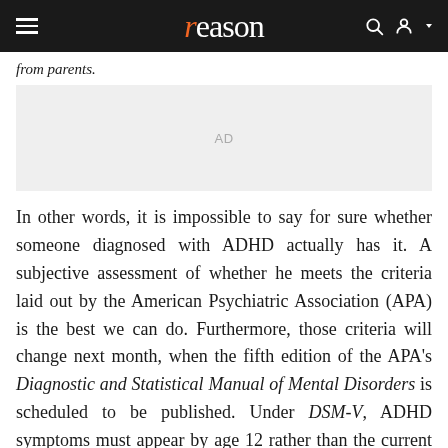reason
from parents.
[Figure (other): Advertisement placeholder box with 'AD' label]
In other words, it is impossible to say for sure whether someone diagnosed with ADHD actually has it. A subjective assessment of whether he meets the criteria laid out by the American Psychiatric Association (APA) is the best we can do. Furthermore, those criteria will change next month, when the fifth edition of the APA's Diagnostic and Statistical Manual of Mental Disorders is scheduled to be published. Under DSM-V, ADHD symptoms must appear by age 12 rather than the current 7, and they need only "impact" daily activities, rather than causing "impairment." Those changes, Schwarz and Cohen say,